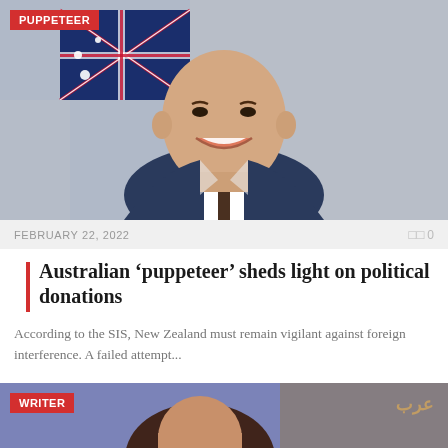[Figure (photo): Portrait photo of a bald man in a dark suit smiling, with an Australian flag in the background]
PUPPETEER
FEBRUARY 22, 2022
0
Australian ‘puppeteer’ sheds light on political donations
According to the SIS, New Zealand must remain vigilant against foreign interference. A failed attempt...
[Figure (photo): Partial image of a woman's face with dark hair, against a purple background with Arabic text logo on the right]
WRITER